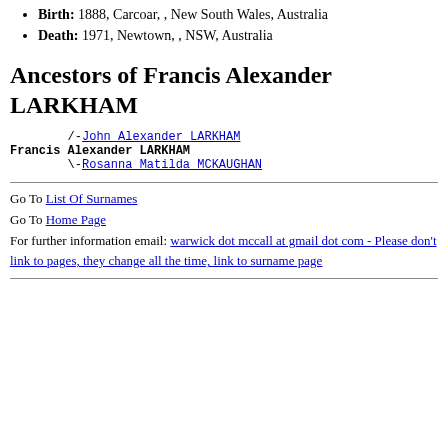Birth: 1888, Carcoar, , New South Wales, Australia
Death: 1971, Newtown, , NSW, Australia
Ancestors of Francis Alexander LARKHAM
/-John Alexander LARKHAM
Francis Alexander LARKHAM
\-Rosanna Matilda MCKAUGHAN
Go To List Of Surnames
Go To Home Page
For further information email: warwick dot mccall at gmail dot com - Please don't link to pages, they change all the time, link to surname page